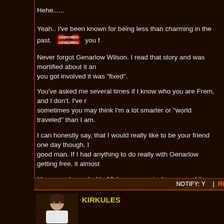Hehe......
Yeah.. I've been known for being less than charming in the past. [CENSORED] you f
Never forgot Genarlow Wilson. I read that story and was mortified about it an you got involved it was "fixed".
You've asked me several times if I know who you are Frem, and I don't. I've r sometimes you may think I'm a lot smarter or "world traveled" than I am.
I can honestly say, that I would really like to be your friend one day though. I good man. If I had anything to do really with Genarlow getting free, it almost
I know you're probably 10 times as cynical as me and it would never happen person some day and shake your hand. You are one of my heroes. Keep doi
Love ya,
~6
"A government is a body of people, usually notably ungoverned."
NOTIFY: Y  |  RI
KIRKULES